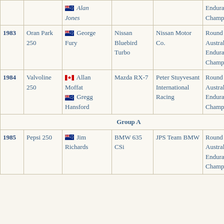| Year | Race | Driver | Car | Team | Notes |
| --- | --- | --- | --- | --- | --- |
|  |  | Alan Jones |  |  | Endurance Championship |
| 1983 | Oran Park 250 | George Fury | Nissan Bluebird Turbo | Nissan Motor Co. | Round 2 of 1983 Australian Endurance Championship |
| 1984 | Valvoline 250 | Allan Moffat / Gregg Hansford | Mazda RX-7 | Peter Stuyvesant International Racing | Round 2 of 1984 Australian Endurance Championship |
| Group A |  |  |  |  |  |
| 1985 | Pepsi 250 | Jim Richards | BMW 635 CSi | JPS Team BMW | Round 2 of 1985 Australian Endurance Championship |